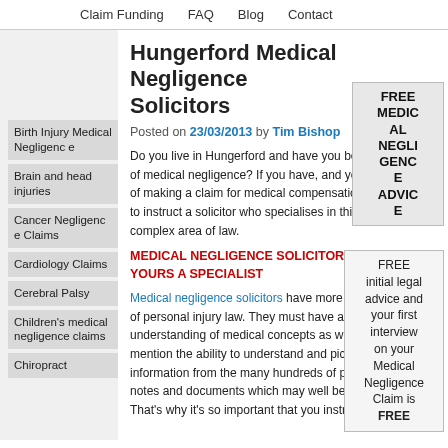Claim Funding   FAQ   Blog   Contact
Birth Injury Medical Negligence
Brain and head injuries
Cancer Negligence Claims
Cardiology Claims
Cerebral Palsy
Children's medical negligence claims
Chiropract
Hungerford Medical Negligence Solicitors
Posted on 23/03/2013 by Tim Bishop
Do you live in Hungerford and have you been the victim of medical negligence? If you have, and you are thinking of making a claim for medical compensation, you do need to instruct a solicitor who specialises in this particular complex area of law.
MEDICAL NEGLIGENCE SOLICITORS – MAKE YOURS A SPECIALIST
Medical negligence solicitors have more than just a grasp of personal injury law. They must have a good understanding of medical concepts as well, not to mention the ability to understand and pick out relevant information from the many hundreds of pages of medical notes and documents which may well be required in your case. That's why it's so important that you instruct
[Figure (infographic): Vertical banner ad reading FREE MEDICAL NEGLIGENCE ADVICE]
[Figure (infographic): Box ad reading: FREE initial legal advice and your first interview on your Medical Negligence Claim is FREE]